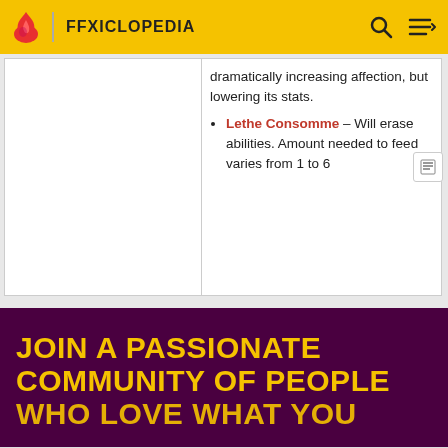FFXICLOPEDIA
dramatically increasing affection, but lowering its stats.
Lethe Consomme – Will erase abilities. Amount needed to feed varies from 1 to 6
[Figure (screenshot): JOIN A PASSIONATE COMMUNITY OF PEOPLE WHO LOVE WHAT YOU — community banner on dark purple background with gold text]
Pet Food, Products, Supplies at Low Prices - Pay the lowest prices on pet supplies at Chewy.com chewy.com